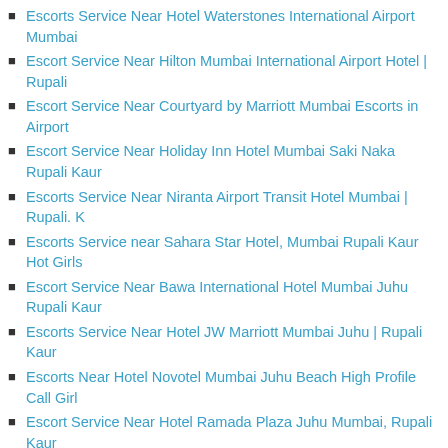Escorts Service Near Hotel Waterstones International Airport Mumbai
Escort Service Near Hilton Mumbai International Airport Hotel | Rupali
Escort Service Near Courtyard by Marriott Mumbai Escorts in Airport
Escort Service Near Holiday Inn Hotel Mumbai Saki Naka Rupali Kaur
Escorts Service Near Niranta Airport Transit Hotel Mumbai | Rupali. K
Escorts Service near Sahara Star Hotel, Mumbai Rupali Kaur Hot Girls
Escort Service Near Bawa International Hotel Mumbai Juhu Rupali Kaur
Escorts Service Near Hotel JW Marriott Mumbai Juhu | Rupali Kaur
Escorts Near Hotel Novotel Mumbai Juhu Beach High Profile Call Girl
Escort Service Near Hotel Ramada Plaza Juhu Mumbai, Rupali Kaur
Escorts Service Near Hotel Sea Princess Juhu Mumbai Rupali Kaur Sexy
Escorts Service Near Sun-n-Sand Hotel Juhu, Mumbai Rupali